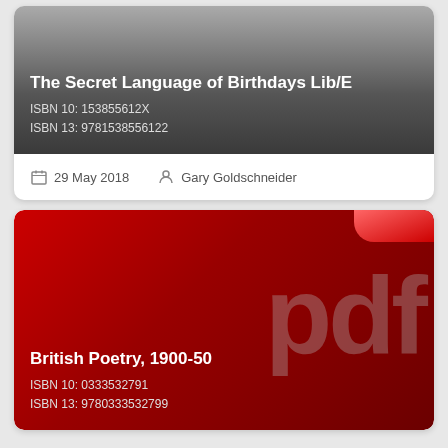[Figure (screenshot): Book listing card with gray gradient background showing title 'The Secret Language of Birthdays Lib/E' with ISBN numbers]
The Secret Language of Birthdays Lib/E
ISBN 10: 153855612X
ISBN 13: 9781538556122
29 May 2018   Gary Goldschneider
[Figure (screenshot): Book listing card with red background and large 'pdf' watermark text showing title 'British Poetry, 1900-50' with ISBN numbers]
British Poetry, 1900-50
ISBN 10: 0333532791
ISBN 13: 9780333532799